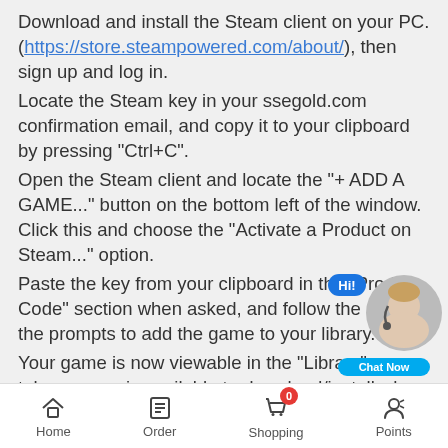Download and install the Steam client on your PC. (https://store.steampowered.com/about/), then sign up and log in.
Locate the Steam key in your ssegold.com confirmation email, and copy it to your clipboard by pressing "Ctrl+C".
Open the Steam client and locate the "+ ADD A GAME..." button on the bottom left of the window. Click this and choose the "Activate a Product on Steam..." option.
Paste the key from your clipboard in the "Product Code" section when asked, and follow the rest of the prompts to add the game to your library.
Your game is now viewable in the "Library" tab, and is available to download/install when you're re...
You can find additional support for the Steam...
[Figure (screenshot): Chat widget with agent avatar, 'Hi!' bubble, and 'Chat Now' button]
Home | Order | Shopping (0) | Points